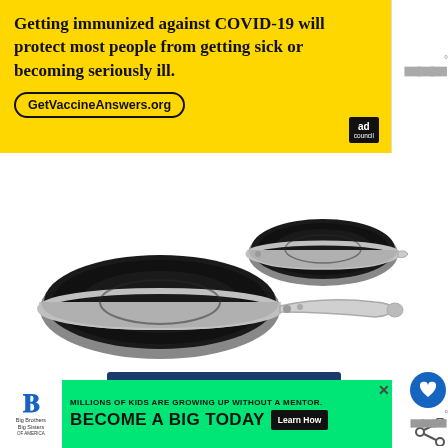[Figure (infographic): Yellow ad banner with text about COVID-19 vaccination, GetVaccineAnswers.org URL, and Ad Council logo]
[Figure (photo): Two stainless steel non-stick frying pans (All-Clad set) on white background – one larger, one smaller]
View on Amazon
See the All Clad set for yourself at Amazon.
[Figure (infographic): Big Brothers Big Sisters ad banner with green background: 'MILLIONS OF KIDS ARE GROWING UP WITHOUT A MENTOR. BECOME A BIG TODAY' with Learn How button]